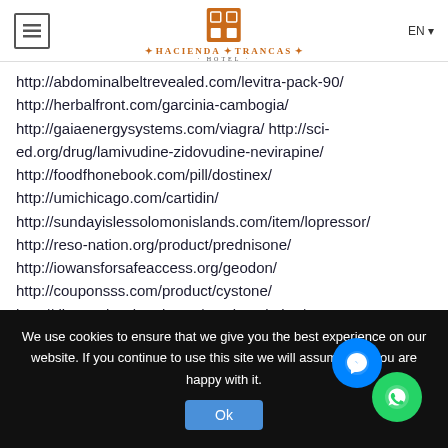Hacienda Trancas Hotel - EN
http://abdominalbeltrevealed.com/levitra-pack-90/
http://herbalfront.com/garcinia-cambogia/
http://gaiaenergysystems.com/viagra/ http://sci-ed.org/drug/lamivudine-zidovudine-nevirapine/
http://foodfhonebook.com/pill/dostinex/
http://umichicago.com/cartidin/
http://sundayislessolomonislands.com/item/lopressor/
http://reso-nation.org/product/prednisone/
http://iowansforsafeaccess.org/geodon/
http://couponsss.com/product/cystone/
http://disasterlesskerala.org/tugain-solution/
http://coachchuckmartin.com/sinequan/
We use cookies to ensure that we give you the best experience on our website. If you continue to use this site we will assume that you are happy with it.